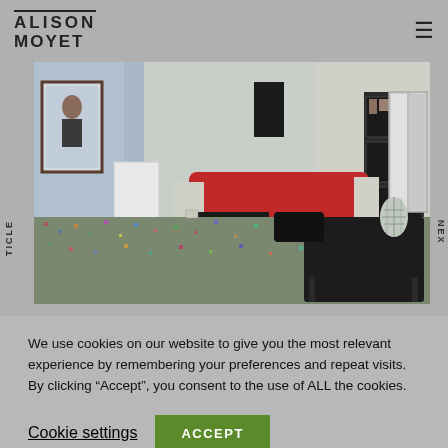ALISON MOYET
[Figure (photo): Interior room photo showing a green/multi-colored patterned carpet floor, a sofa covered with a red throw, a black coffee table, a disco ball vase, and other furniture. A person is visible in a mirror on the left side.]
TICLE
NEX
We use cookies on our website to give you the most relevant experience by remembering your preferences and repeat visits. By clicking “Accept”, you consent to the use of ALL the cookies.
Cookie settings
ACCEPT